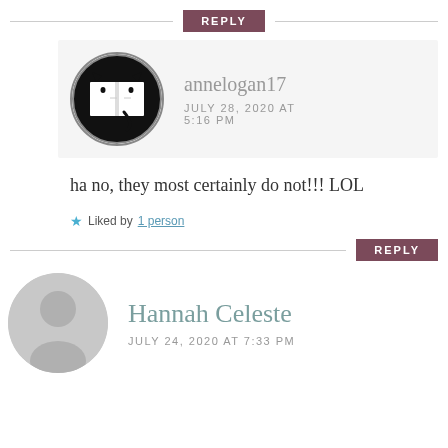REPLY
[Figure (photo): Avatar of annelogan17: circular black and white logo of a cat sitting behind an open book]
annelogan17 JULY 28, 2020 AT 5:16 PM
ha no, they most certainly do not!!! LOL
Liked by 1 person
REPLY
[Figure (photo): Generic gray user avatar silhouette]
Hannah Celeste JULY 24, 2020 AT 7:33 PM